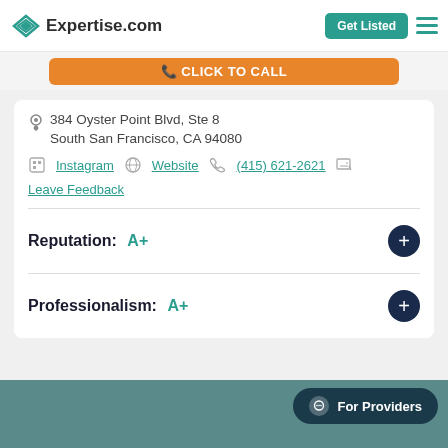Expertise.com
[Figure (screenshot): Orange Click to Call button (partially visible)]
384 Oyster Point Blvd, Ste 8
South San Francisco, CA 94080
Instagram  Website  (415) 621-2621  Leave Feedback
Reputation: A+
Professionalism: A+
[Figure (screenshot): For Providers chat button and teal background section at bottom]